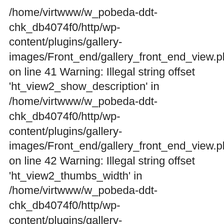/home/virtwww/w_pobeda-ddt-chk_db4074f0/http/wp-content/plugins/gallery-images/Front_end/gallery_front_end_view.php on line 41 Warning: Illegal string offset 'ht_view2_show_description' in /home/virtwww/w_pobeda-ddt-chk_db4074f0/http/wp-content/plugins/gallery-images/Front_end/gallery_front_end_view.php on line 42 Warning: Illegal string offset 'ht_view2_thumbs_width' in /home/virtwww/w_pobeda-ddt-chk_db4074f0/http/wp-content/plugins/gallery-images/Front_end/gallery_front_end_view.php on line 43 Warning: Illegal string offset 'ht_view2_thumbs_height' in /home/virtwww/w_pobeda-ddt-chk_db4074f0/http/wp-content/plugins/gallery-images/...